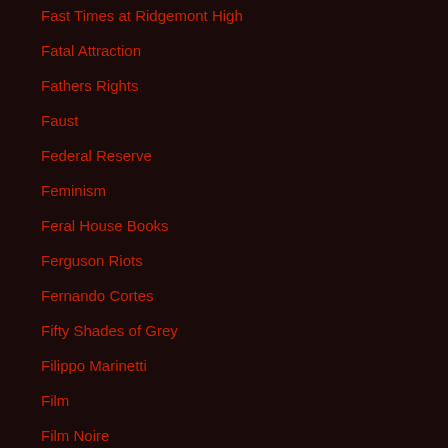Fast Times at Ridgemont High
Fatal Attraction
Fathers Rights
Faust
Federal Reserve
Feminism
Feral House Books
Ferguson Riots
Fernando Cortes
Fifty Shades of Grey
Filippo Marinetti
Film
Film Noire
FIRE Economy
Fire Tiger